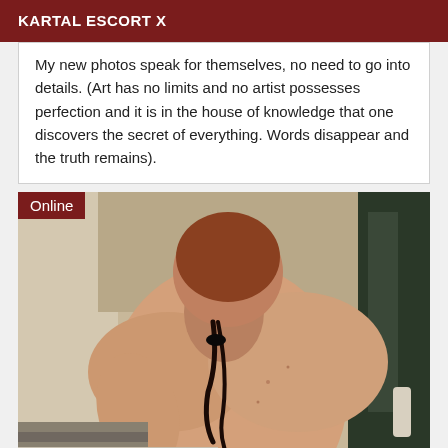KARTAL ESCORT X
My new photos speak for themselves, no need to go into details. (Art has no limits and no artist possesses perfection and it is in the house of knowledge that one discovers the secret of everything. Words disappear and the truth remains).
[Figure (photo): Person photographed from behind, showing bare back and dark hair tied, standing in what appears to be a bathroom. An 'Online' badge is overlaid in the top-left corner of the image.]